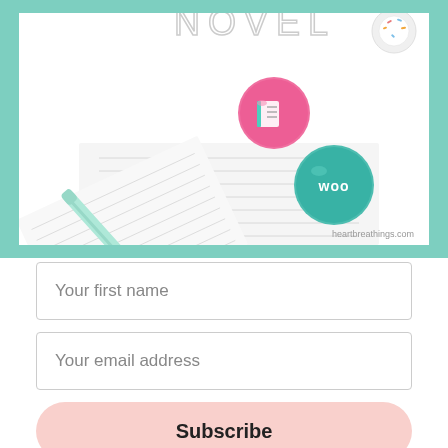[Figure (photo): Photo of a mint/teal pen lying diagonally on lined notebook paper, with two decorative button pins: a pink one with an icon and a teal one that says 'woo'. Text 'heartbreathings.com' in bottom right corner. Above the photo is partial text 'NOVEL' visible at top. The photo is in a white frame set against a teal/mint green background border.]
Your first name
Your email address
Subscribe